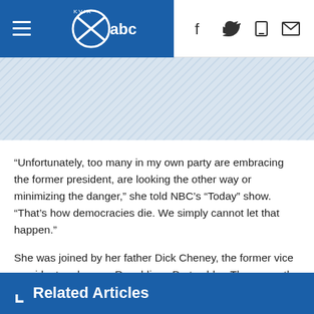KVIA ABC 7 News — navigation header with logo and social icons
[Figure (other): Diagonal hatched banner/advertisement placeholder area in light blue]
“Unfortunately, too many in my own party are embracing the former president, are looking the other way or minimizing the danger,” she told NBC’s “Today” show. “That’s how democracies die. We simply cannot let that happen.”
She was joined by her father Dick Cheney, the former vice president and now a Republican Party elder. They were the only members of the GOP seen for a moment of silence on the House floor.
Related Articles